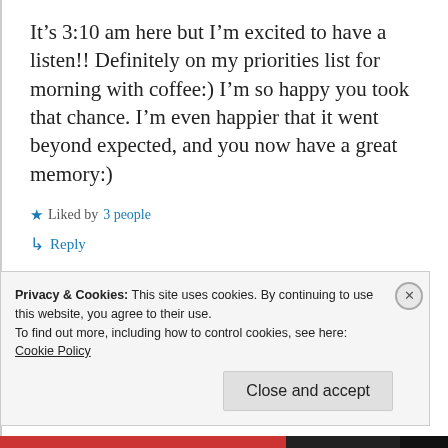It's 3:10 am here but I'm excited to have a listen!! Definitely on my priorities list for morning with coffee:) I'm so happy you took that chance. I'm even happier that it went beyond expected, and you now have a great memory:)
★ Liked by 3 people
↳ Reply
Privacy & Cookies: This site uses cookies. By continuing to use this website, you agree to their use.
To find out more, including how to control cookies, see here:
Cookie Policy